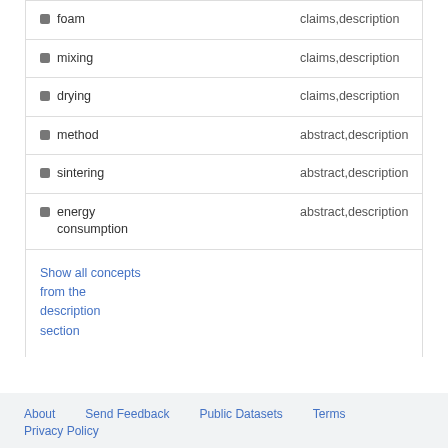| Term | Sources |
| --- | --- |
| foam | claims,description |
| mixing | claims,description |
| drying | claims,description |
| method | abstract,description |
| sintering | abstract,description |
| energy consumption | abstract,description |
Show all concepts from the description section
About   Send Feedback   Public Datasets   Terms
Privacy Policy